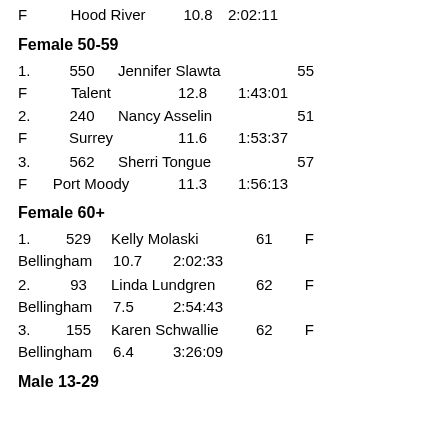F   Hood River   10.8   2:02:11
Female 50-59
1.   550   Jennifer Slawta   55
F   Talent   12.8   1:43:01
2.   240   Nancy Asselin   51
F   Surrey   11.6   1:53:37
3.   562   Sherri Tongue   57
F   Port Moody   11.3   1:56:13
Female 60+
1.   529   Kelly Molaski   61   F
Bellingham   10.7   2:02:33
2.   93   Linda Lundgren   62   F
Bellingham   7.5   2:54:43
3.   155   Karen Schwallie   62   F
Bellingham   6.4   3:26:09
Male 13-29